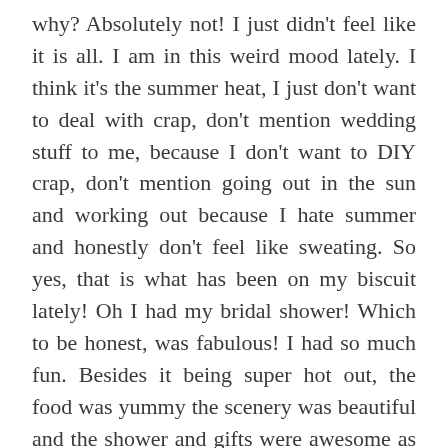why? Absolutely not! I just didn't feel like it is all. I am in this weird mood lately. I think it's the summer heat, I just don't want to deal with crap, don't mention wedding stuff to me, because I don't want to DIY crap, don't mention going out in the sun and working out because I hate summer and honestly don't feel like sweating. So yes, that is what has been on my biscuit lately! Oh I had my bridal shower! Which to be honest, was fabulous! I had so much fun. Besides it being super hot out, the food was yummy the scenery was beautiful and the shower and gifts were awesome as well. Speaking of gifts, I got a lot of nice things off of my registry, I never thought getting household items would be so much fun! It was at this lovely place called La Marina in